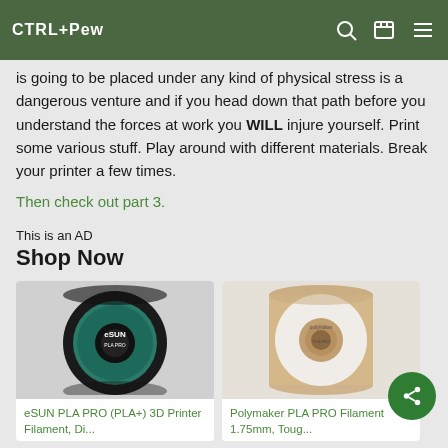CTRL+Pew
is going to be placed under any kind of physical stress is a dangerous venture and if you head down that path before you understand the forces at work you WILL injure yourself. Print some various stuff. Play around with different materials. Break your printer a few times.
Then check out part 3.
This is an AD
Shop Now
[Figure (photo): Black spool of eSUN PLA PRO (PLA+) 3D Printer Filament]
eSUN PLA PRO (PLA+) 3D Printer Filament, Di...
[Figure (photo): White/natural spool of Polymaker PLA PRO Filament 1.75mm]
Polymaker PLA PRO Filament 1.75mm, Toug...